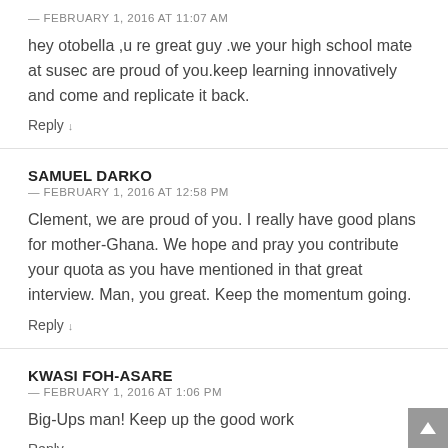— FEBRUARY 1, 2016 AT 11:07 AM
hey otobella ,u re great guy .we your high school mate at susec are proud of you.keep learning innovatively and come and replicate it back.
Reply ↓
SAMUEL DARKO
— FEBRUARY 1, 2016 AT 12:58 PM
Clement, we are proud of you. I really have good plans for mother-Ghana. We hope and pray you contribute your quota as you have mentioned in that great interview. Man, you great. Keep the momentum going.
Reply ↓
KWASI FOH-ASARE
— FEBRUARY 1, 2016 AT 1:06 PM
Big-Ups man! Keep up the good work
Reply ↓